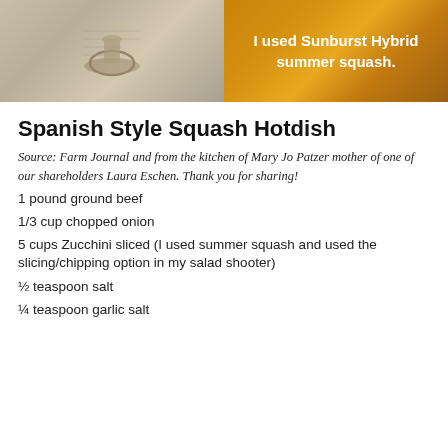[Figure (photo): Left half: old handwritten recipe card with mortar and pestle illustration. Right half: photo of Sunburst Hybrid summer squash with text overlay 'I used Sunburst Hybrid summer squash.']
Spanish Style Squash Hotdish
Source: Farm Journal and from the kitchen of Mary Jo Patzer mother of one of our shareholders Laura Eschen. Thank you for sharing!
1 pound ground beef
1/3 cup chopped onion
5 cups Zucchini sliced (I used summer squash and used the slicing/chipping option in my salad shooter)
½ teaspoon salt
¼ teaspoon garlic salt